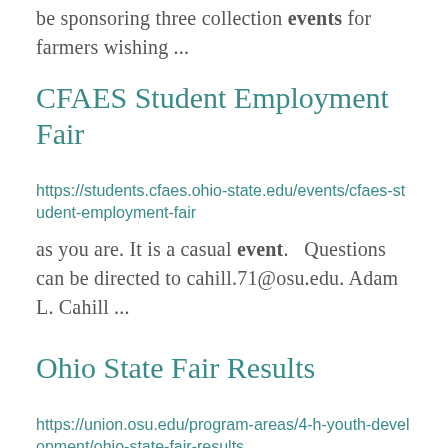be sponsoring three collection events for farmers wishing ...
CFAES Student Employment Fair
https://students.cfaes.ohio-state.edu/events/cfaes-student-employment-fair
as you are. It is a casual event.   Questions can be directed to cahill.71@osu.edu. Adam L. Cahill ...
Ohio State Fair Results
https://union.osu.edu/program-areas/4-h-youth-development/ohio-state-fair-results
Ohio State Fair Results 2022 Union County Delagates- Judging Results ...